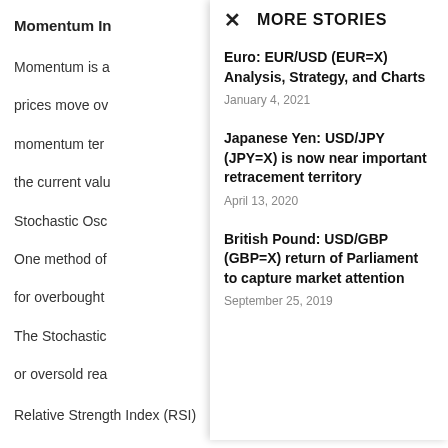Momentum In
Momentum is a
prices move ov
momentum ter
the current valu
Stochastic Osc
One method of
for overbought
The Stochastic
or oversold rea
Relative Strength Index (RSI)
MORE STORIES
Euro: EUR/USD (EUR=X) Analysis, Strategy, and Charts
January 4, 2021
Japanese Yen: USD/JPY (JPY=X) is now near important retracement territory
April 13, 2020
British Pound: USD/GBP (GBP=X) return of Parliament to capture market attention
September 25, 2019